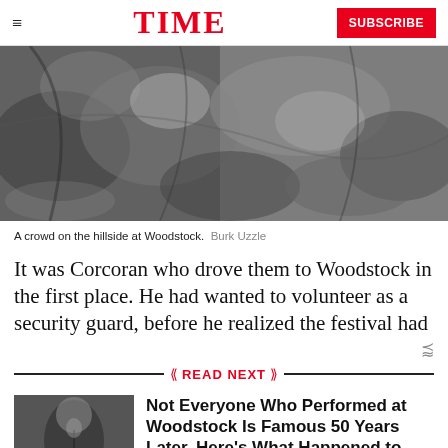TIME  SUBSCRIBE
[Figure (photo): Black and white photograph of a crowd on a hillside at Woodstock, showing people packed together with bags and gear.]
A crowd on the hillside at Woodstock.  Burk Uzzle
It was Corcoran who drove them to Woodstock in the first place. He had wanted to volunteer as a security guard, before he realized the festival had
READ NEXT
[Figure (photo): Black and white thumbnail photo of a performer at Woodstock.]
Not Everyone Who Performed at Woodstock Is Famous 50 Years Later. Here's What Happened to One Forgotten Star